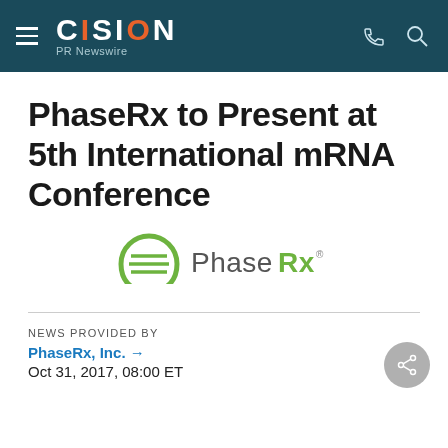CISION PR Newswire
PhaseRx to Present at 5th International mRNA Conference
[Figure (logo): PhaseRx company logo with green horseshoe/droplet icon and PhaseRx wordmark in gray text]
NEWS PROVIDED BY
PhaseRx, Inc. →
Oct 31, 2017, 08:00 ET